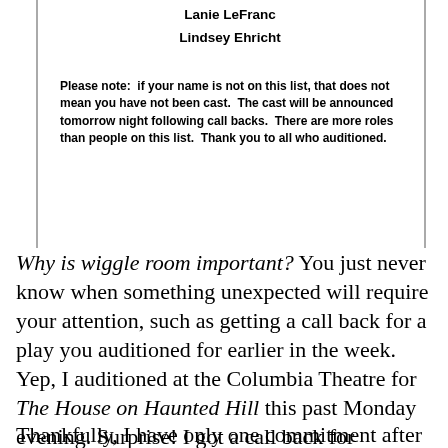Lanie LeFranc
Lindsey Ehricht
Please note:  if your name is not on this list, that does not mean you have not been cast.  The cast will be announced tomorrow night following call backs.  There are more roles than people on this list.  Thank you to all who auditioned.
Why is wiggle room important? You just never know when something unexpected will require your attention, such as getting a call back for a play you auditioned for earlier in the week. Yep, I auditioned at the Columbia Theatre for The House on Haunted Hill this past Monday evening. Surprise! I got a call back for Wednesday evening. I auditioned strictly for the experience since I had a conflict the second weekend of the show. While it would have been terrific to be a part of this production, I did not get cast which is fine because Kelsi and I have oodles planned for September and October. Happiness Boost!
Thankfully, I have only one commitment after work this